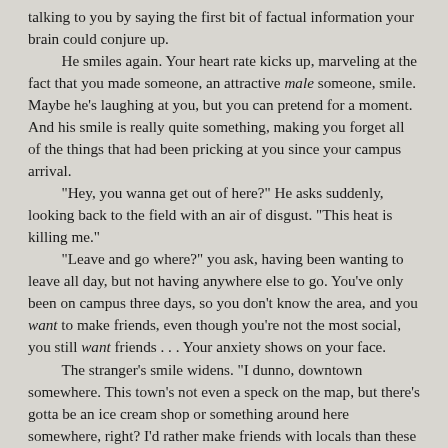talking to you by saying the first bit of factual information your brain could conjure up.
	He smiles again. Your heart rate kicks up, marveling at the fact that you made someone, an attractive male someone, smile. Maybe he's laughing at you, but you can pretend for a moment. And his smile is really quite something, making you forget all of the things that had been pricking at you since your campus arrival.
	"Hey, you wanna get out of here?" He asks suddenly, looking back to the field with an air of disgust. "This heat is killing me."
	"Leave and go where?" you ask, having been wanting to leave all day, but not having anywhere else to go. You've only been on campus three days, so you don't know the area, and you want to make friends, even though you're not the most social, you still want friends . . . Your anxiety shows on your face.
	The stranger's smile widens. "I dunno, downtown somewhere. This town's not even a speck on the map, but there's gotta be an ice cream shop or something around here somewhere, right? I'd rather make friends with locals than these . . . calling them idiots probably won't score me points with anyone."
	"Except for me," you agree, startled at your audacity. "These kids aren't really the kind of people I want to be friends with."
	His sure brown eyes are staring into yours, looking at you like your